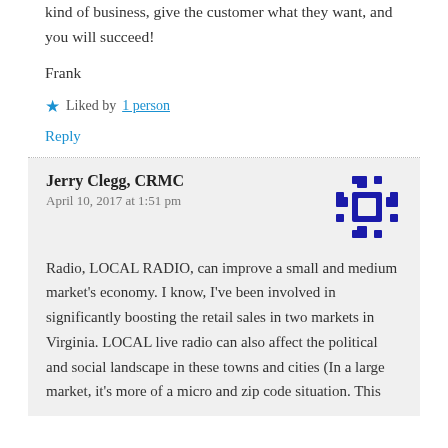kind of business, give the customer what they want, and you will succeed!
Frank
Liked by 1 person
Reply
Jerry Clegg, CRMC
April 10, 2017 at 1:51 pm
[Figure (logo): Blue decorative cross/snowflake-like logo mark]
Radio, LOCAL RADIO, can improve a small and medium market's economy. I know, I've been involved in significantly boosting the retail sales in two markets in Virginia. LOCAL live radio can also affect the political and social landscape in these towns and cities (In a large market, it's more of a micro and zip code situation. This